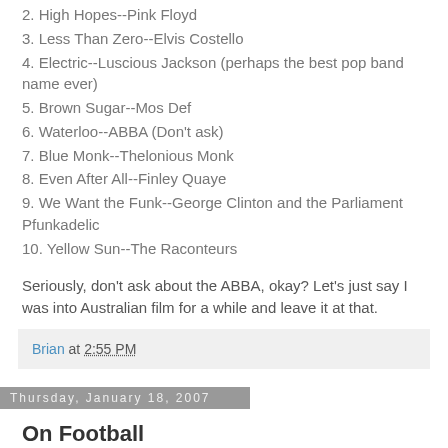2. High Hopes--Pink Floyd
3. Less Than Zero--Elvis Costello
4. Electric--Luscious Jackson (perhaps the best pop band name ever)
5. Brown Sugar--Mos Def
6. Waterloo--ABBA (Don't ask)
7. Blue Monk--Thelonious Monk
8. Even After All--Finley Quaye
9. We Want the Funk--George Clinton and the Parliament Pfunkadelic
10. Yellow Sun--The Raconteurs
Seriously, don't ask about the ABBA, okay? Let's just say I was into Australian film for a while and leave it at that.
Brian at 2:55 PM
Thursday, January 18, 2007
On Football